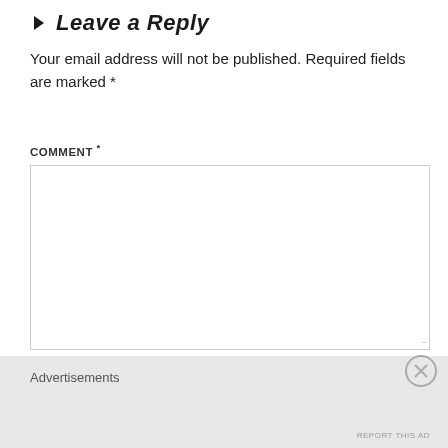Leave a Reply
Your email address will not be published. Required fields are marked *
COMMENT *
[Figure (other): Empty comment text area input box with resize handle]
NAME *
[Figure (other): Name text input field]
Advertisements
REPORT THIS AD